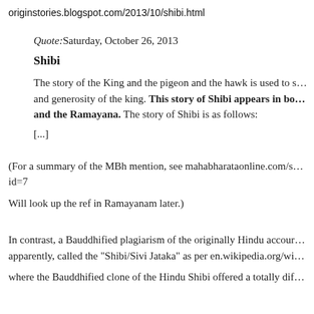originstories.blogspot.com/2013/10/shibi.html
Quote:Saturday, October 26, 2013
Shibi
The story of the King and the pigeon and the hawk is used to s… and generosity of the king. This story of Shibi appears in bo… and the Ramayana. The story of Shibi is as follows:
[...]
(For a summary of the MBh mention, see mahabharataonline.com/s… id=7
Will look up the ref in Ramayanam later.)
In contrast, a Bauddhified plagiarism of the originally Hindu accour… apparently, called the "Shibi/Sivi Jataka" as per en.wikipedia.org/wi…
where the Bauddhified clone of the Hindu Shibi offered a totally dif…